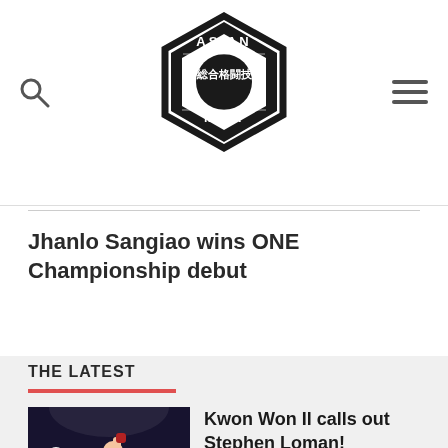[Figure (logo): Asian MMA logo — hexagonal badge with Japanese kanji 総合格闘技 (Mixed Martial Arts) in center, ASIAN at top, MMA at bottom]
Jhanlo Sangiao wins ONE Championship debut
THE LATEST
[Figure (photo): Kwon Won Il in the ring raising his arms in victory after a fight]
Kwon Won Il calls out Stephen Loman!